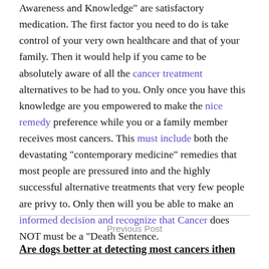Awareness and Knowledge" are satisfactory medication. The first factor you need to do is take control of your very own healthcare and that of your family. Then it would help if you came to be absolutely aware of all the cancer treatment alternatives to be had to you. Only once you have this knowledge are you empowered to make the nice remedy preference while you or a family member receives most cancers. This must include both the devastating "contemporary medicine" remedies that most people are pressured into and the highly successful alternative treatments that very few people are privy to. Only then will you be able to make an informed decision and recognize that Cancer does NOT must be a "Death Sentence.
Previous Post
Are dogs better at detecting most cancers ithen